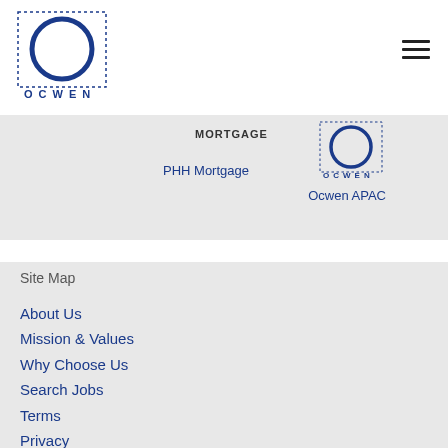[Figure (logo): Ocwen logo: circle in dotted square border with OCWEN text below]
[Figure (logo): Hamburger menu icon (three horizontal lines)]
MORTGAGE
PHH Mortgage
[Figure (logo): Ocwen circle logo in dotted border with OCWEN text]
Ocwen APAC
Site Map
About Us
Mission & Values
Why Choose Us
Search Jobs
Terms
Privacy
Corporate Sites